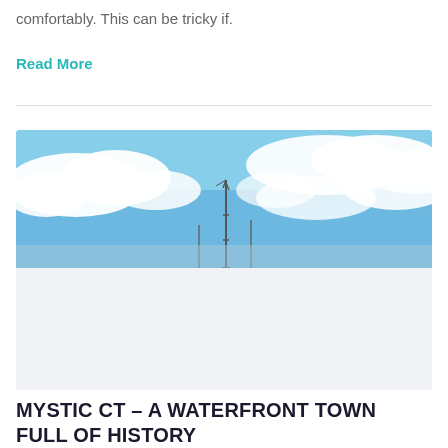comfortably. This can be tricky if.
Read More
[Figure (photo): Panoramic photo showing a bright blue sky with white clouds and the top of a communication tower/mast visible at center, cropped to a wide horizontal banner format.]
MYSTIC CT – A WATERFRONT TOWN FULL OF HISTORY